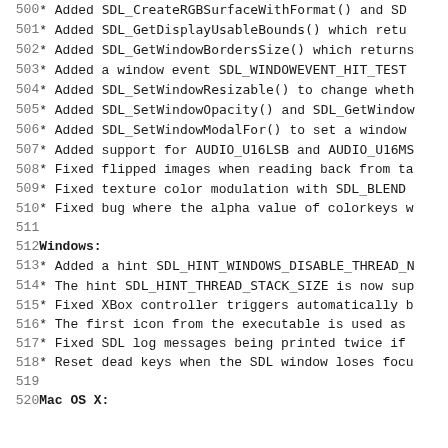500  * Added SDL_CreateRGBSurfaceWithFormat() and SD
501  * Added SDL_GetDisplayUsableBounds() which retu
502  * Added SDL_GetWindowBordersSize() which returns
503  * Added a window event SDL_WINDOWEVENT_HIT_TEST
504  * Added SDL_SetWindowResizable() to change wheth
505  * Added SDL_SetWindowOpacity() and SDL_GetWindow
506  * Added SDL_SetWindowModalFor() to set a window
507  * Added support for AUDIO_U16LSB and AUDIO_U16MS
508  * Fixed flipped images when reading back from ta
509  * Fixed texture color modulation with SDL_BLEND
510  * Fixed bug where the alpha value of colorkeys w
511  (empty)
512  Windows:
513  * Added a hint SDL_HINT_WINDOWS_DISABLE_THREAD_N
514  * The hint SDL_HINT_THREAD_STACK_SIZE is now sup
515  * Fixed XBox controller triggers automatically b
516  * The first icon from the executable is used as
517  * Fixed SDL log messages being printed twice if
518  * Reset dead keys when the SDL window loses focu
519  (empty)
520  Mac OS X: